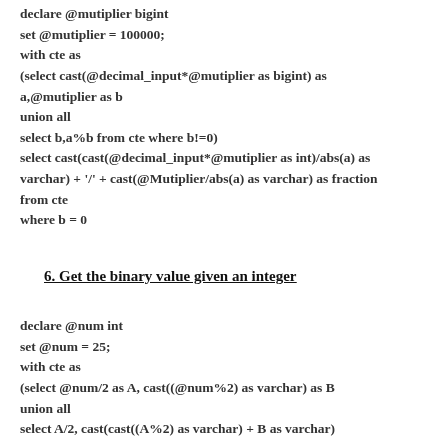declare @mutiplier bigint
set @mutiplier = 100000;
with cte as
(select cast(@decimal_input*@mutiplier as bigint) as a,@mutiplier as b
union all
select b,a%b from cte where b!=0)
select cast(cast(@decimal_input*@mutiplier as int)/abs(a) as varchar) + '/' + cast(@Mutiplier/abs(a) as varchar) as fraction from cte
where b = 0
6. Get the binary value given an integer
declare @num int
set @num = 25;
with cte as
(select @num/2 as A, cast((@num%2) as varchar) as B
union all
select A/2, cast(cast((A%2) as varchar) + B as varchar)